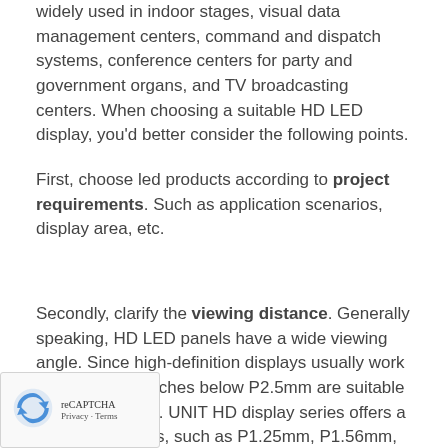widely used in indoor stages, visual data management centers, command and dispatch systems, conference centers for party and government organs, and TV broadcasting centers. When choosing a suitable HD LED display, you'd better consider the following points.
First, choose led products according to project requirements. Such as application scenarios, display area, etc.
Secondly, clarify the viewing distance. Generally speaking, HD LED panels have a wide viewing angle. Since high-definition displays usually work indoors, pixel pitches below P2.5mm are suitable for close-up viewing. UNIT HD display series offers a variety of options, such as P1.25mm, P1.56mm, P1.86mm, etc.